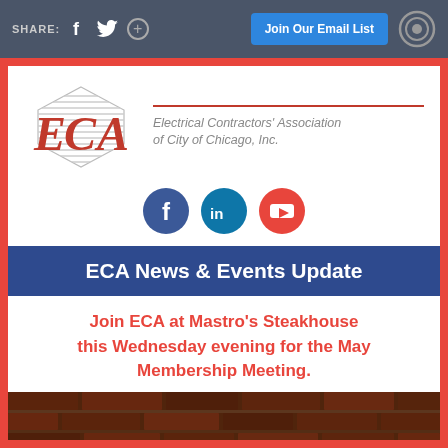SHARE: [Facebook] [Twitter] [+]   Join Our Email List   [Target icon]
[Figure (logo): ECA - Electrical Contractors' Association of City of Chicago, Inc. logo with diamond shape]
[Figure (infographic): Social media icons: Facebook (blue circle), LinkedIn (teal circle), YouTube (red circle)]
ECA News & Events Update
Join ECA at Mastro's Steakhouse this Wednesday evening for the May Membership Meeting.
[Figure (photo): Close-up photo of brick or stone texture, dark brownish-red tones]